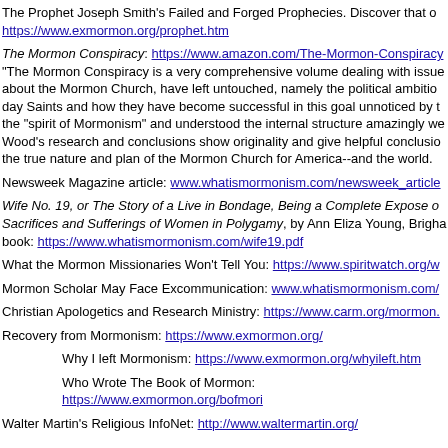The Prophet Joseph Smith's Failed and Forged Prophecies. Discover that o... https://www.exmormon.org/prophet.htm
The Mormon Conspiracy: https://www.amazon.com/The-Mormon-Conspiracy "The Mormon Conspiracy is a very comprehensive volume dealing with issues about the Mormon Church, have left untouched, namely the political ambitions of Latter day Saints and how they have become successful in this goal unnoticed by the public. He gets the "spirit of Mormonism" and understood the internal structure amazingly well. Professor Wood's research and conclusions show originality and give helpful conclusions about the true nature and plan of the Mormon Church for America--and the world.
Newsweek Magazine article: www.whatismormonism.com/newsweek_article
Wife No. 19, or The Story of a Live in Bondage, Being a Complete Expose of Sacrifices and Sufferings of Women in Polygamy, by Ann Eliza Young, Brigha... book: https://www.whatismormonism.com/wife19.pdf
What the Mormon Missionaries Won't Tell You: https://www.spiritwatch.org/w...
Mormon Scholar May Face Excommunication: www.whatismormonism.com/...
Christian Apologetics and Research Ministry: https://www.carm.org/mormon....
Recovery from Mormonism: https://www.exmormon.org/
Why I left Mormonism: https://www.exmormon.org/whyileft.htm
Who Wrote The Book of Mormon: https://www.exmormon.org/bofmori...
Walter Martin's Religious InfoNet: http://www.waltermartin.org/